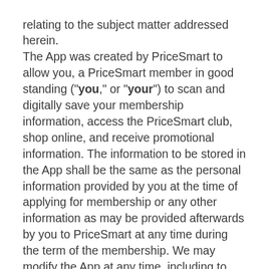relating to the subject matter addressed herein. The App was created by PriceSmart to allow you, a PriceSmart member in good standing ("you," or "your") to scan and digitally save your membership information, access the PriceSmart club, shop online, and receive promotional information. The information to be stored in the App shall be the same as the personal information provided by you at the time of applying for membership or any other information as may be provided afterwards by you to PriceSmart at any time during the term of the membership. We may modify the App at any time, including to remove features and functions. If we modify the App you may need to download updates to continue to use it. Your use of the App is also subject to the terms of the store or platform from which you